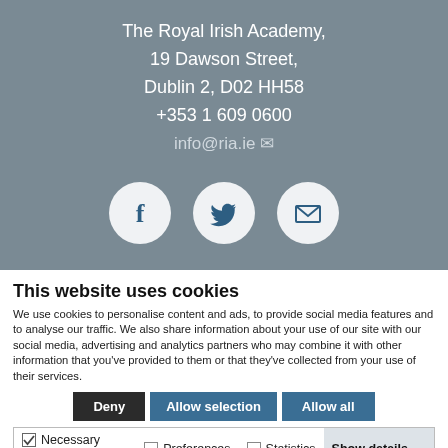The Royal Irish Academy,
19 Dawson Street,
Dublin 2, D02 HH58
+353 1 609 0600
info@ria.ie
[Figure (illustration): Three social media icon circles: Facebook (f), Twitter (bird), and Email (envelope), on grey background]
This website uses cookies
We use cookies to personalise content and ads, to provide social media features and to analyse our traffic. We also share information about your use of our site with our social media, advertising and analytics partners who may combine it with other information that you've provided to them or that they've collected from your use of their services.
Deny | Allow selection | Allow all
Necessary  Preferences  Statistics  Show details  Marketing